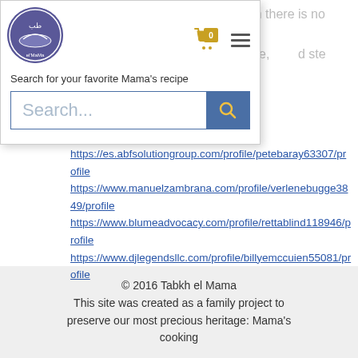[Figure (logo): Circular logo for Tabkh el Mama with Arabic text and illustration]
muscular gain, then there is no better stack for you than this one, and steroid stacks for mass!
Search for your favorite Mama's recipe
Search...
Similar articles:
https://es.abfsolutiongroup.com/profile/petebaray63307/profile
https://www.manuelzambrana.com/profile/verlenebugge3849/profile
https://www.blumeadvocacy.com/profile/rettablind118946/profile
https://www.djlegendsllc.com/profile/billyemccuien55081/profile
© 2016 Tabkh el Mama
This site was created as a family project to preserve our most precious heritage: Mama's cooking